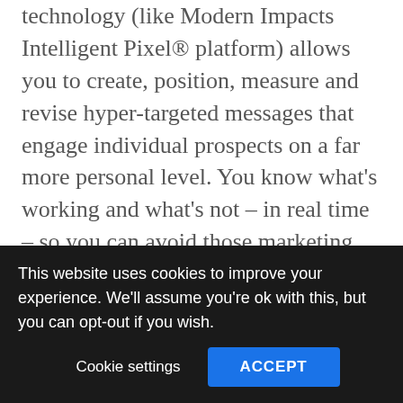technology (like Modern Impacts Intelligent Pixel® platform) allows you to create, position, measure and revise hyper-targeted messages that engage individual prospects on a far more personal level. You know what's working and what's not – in real time – so you can avoid those marketing disasters and advance positive conversation.

Of course, such technology also forwards further propagation of a marketplace
This website uses cookies to improve your experience. We'll assume you're ok with this, but you can opt-out if you wish.
Cookie settings   ACCEPT